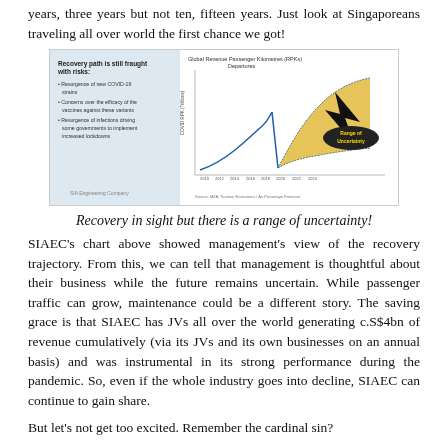years, three years but not ten, fifteen years. Just look at Singaporeans traveling all over world the first chance we got!
[Figure (other): A slide image showing a chart titled 'Global Revenue Passenger Kilometres (RPKs) Departures' with a recovery trajectory line showing growth, then a sharp decline during COVID, followed by a shaded 'Range of Uncertainty' area projecting future recovery scenarios. Left panel lists risks: Resurgence of new COVID-19 strains, Concerns over the efficacy of the vaccines against these variants, Resurgence of infections driving some governments to implement increased lockdowns.]
Recovery in sight but there is a range of uncertainty!
SIAEC's chart above showed management's view of the recovery trajectory. From this, we can tell that management is thoughtful about their business while the future remains uncertain. While passenger traffic can grow, maintenance could be a different story. The saving grace is that SIAEC has JVs all over the world generating c.S$4bn of revenue cumulatively (via its JVs and its own businesses on an annual basis) and was instrumental in its strong performance during the pandemic. So, even if the whole industry goes into decline, SIAEC can continue to gain share.
But let's not get too excited. Remember the cardinal sin?